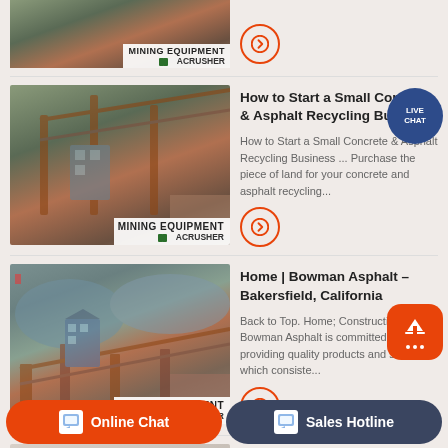[Figure (photo): Mining equipment / industrial crusher plant - partial top view]
How to Start a Small Concrete & Asphalt Recycling Business
How to Start a Small Concrete & Asphalt Recycling Business ... Purchase the piece of land for your concrete and asphalt recycling...
[Figure (photo): Mining equipment / industrial crusher plant with red flag on hill]
Home | Bowman Asphalt – Bakersfield, California
Back to Top. Home; Construction; ... Bowman Asphalt is committed to providing quality products and services which consiste...
[Figure (photo): Mining equipment / industrial crusher plant with mountain in background]
Investigation of Concrete Recycling in the U.S ...
[Figure (photo): White/light background partial image at bottom]
Online Chat
Sales Hotline